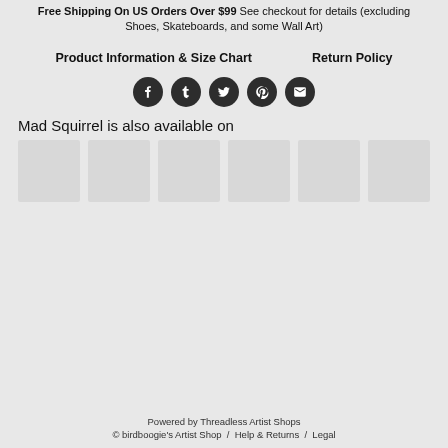Free Shipping On US Orders Over $99 See checkout for details (excluding Shoes, Skateboards, and some Wall Art)
Product Information & Size Chart
Return Policy
[Figure (infographic): Row of 5 social media icon circles (Facebook, Tumblr, Twitter, Pinterest, Email) in dark/black with white icons]
Mad Squirrel is also available on
[Figure (infographic): Row of 6 light gray thumbnail placeholder boxes representing marketplace logos]
Powered by Threadless Artist Shops © birdboogie's Artist Shop / Help & Returns / Legal